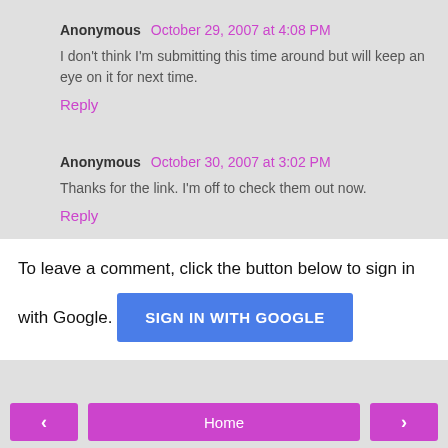Anonymous October 29, 2007 at 4:08 PM
I don't think I'm submitting this time around but will keep an eye on it for next time.
Reply
Anonymous October 30, 2007 at 3:02 PM
Thanks for the link. I'm off to check them out now.
Reply
To leave a comment, click the button below to sign in with Google.
SIGN IN WITH GOOGLE
< Home >